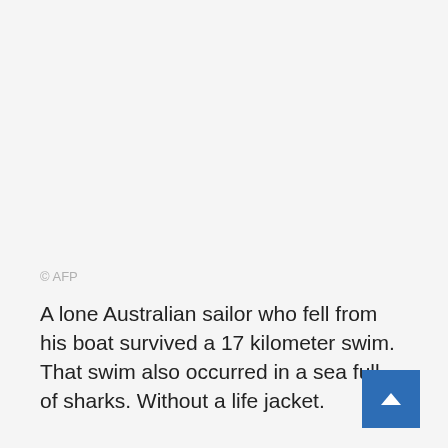© AFP
A lone Australian sailor who fell from his boat survived a 17 kilometer swim. That swim also occurred in a sea full of sharks. Without a life jacket.